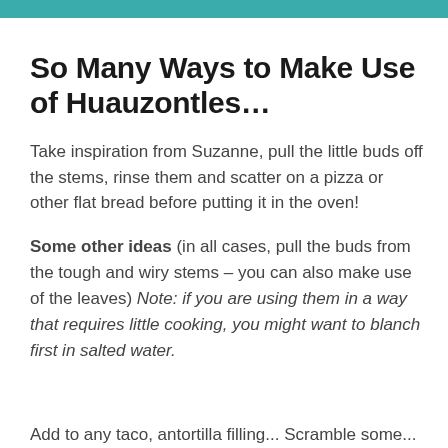So Many Ways to Make Use of Huauzontles…
Take inspiration from Suzanne, pull the little buds off the stems, rinse them and scatter on a pizza or other flat bread before putting it in the oven!
Some other ideas (in all cases, pull the buds from the tough and wiry stems – you can also make use of the leaves) Note: if you are using them in a way that requires little cooking, you might want to blanch first in salted water.
Add to any taco, antortilla filling...Scramble some...